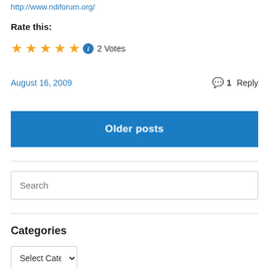http://www.ndiforum.org/
Rate this:
[Figure (other): Five gold star rating icons followed by a blue info icon and '2 Votes' text]
August 16, 2009
1 Reply
Older posts
Search
Categories
Select Category